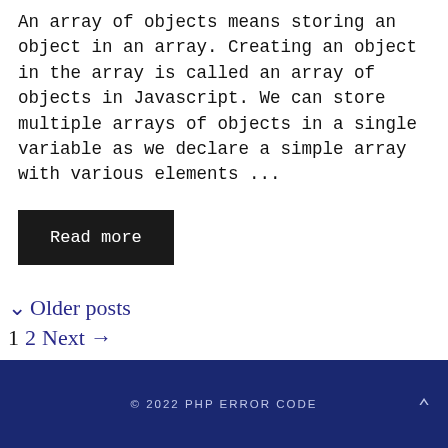An array of objects means storing an object in an array. Creating an object in the array is called an array of objects in Javascript. We can store multiple arrays of objects in a single variable as we declare a simple array with various elements ...
Read more
Older posts
1 2 Next →
© 2022 PHP ERROR CODE